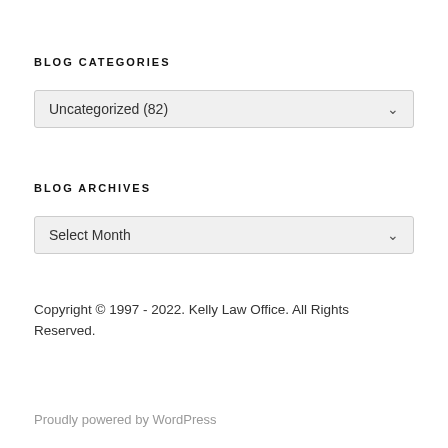BLOG CATEGORIES
Uncategorized (82)
BLOG ARCHIVES
Select Month
Copyright © 1997 - 2022. Kelly Law Office. All Rights Reserved.
Proudly powered by WordPress